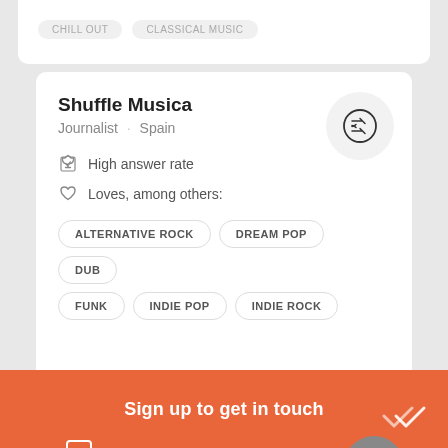CHILL OUT  CLASSICAL MUSIC
Shuffle Musica
Journalist · Spain
High answer rate
Loves, among others:
ALTERNATIVE ROCK
DREAM POP
DUB
FUNK
INDIE POP
INDIE ROCK
NEW
Sign up to get in touch